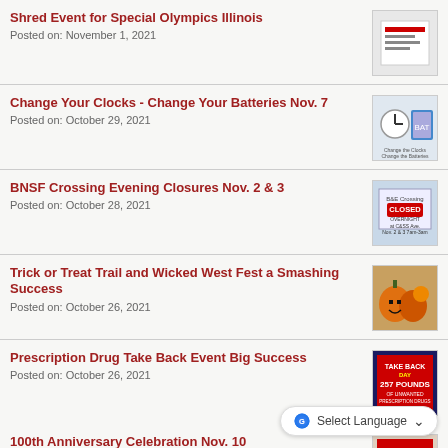Shred Event for Special Olympics Illinois
Posted on: November 1, 2021
Change Your Clocks - Change Your Batteries Nov. 7
Posted on: October 29, 2021
BNSF Crossing Evening Closures Nov. 2 & 3
Posted on: October 28, 2021
Trick or Treat Trail and Wicked West Fest a Smashing Success
Posted on: October 26, 2021
Prescription Drug Take Back Event Big Success
Posted on: October 26, 2021
100th Anniversary Celebration Nov. 10